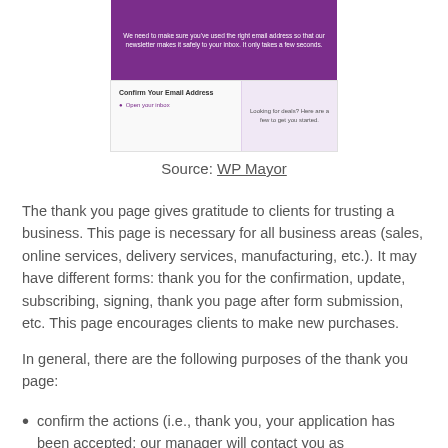[Figure (screenshot): Screenshot of an email confirmation page with a purple header saying 'We need to make sure you've used the right email address so that our newsletter makes it safely to your inbox. It only takes a few seconds.' Below is a white section with 'Confirm Your Email Address' and a link 'Open your inbox', alongside a purple box saying 'Looking for deals? Here are a few to get you started.']
Source: WP Mayor
The thank you page gives gratitude to clients for trusting a business. This page is necessary for all business areas (sales, online services, delivery services, manufacturing, etc.). It may have different forms: thank you for the confirmation, update, subscribing, signing, thank you page after form submission, etc. This page encourages clients to make new purchases.
In general, there are the following purposes of the thank you page:
confirm the actions (i.e., thank you, your application has been accepted; our manager will contact you as